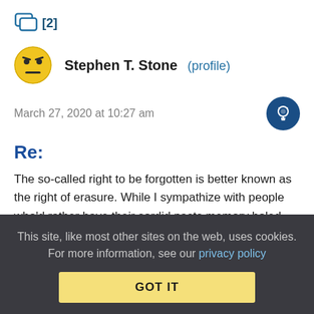[Figure (other): Chat/message icon with [2] badge in blue]
Stephen T. Stone (profile)
March 27, 2020 at 10:27 am
Re:
The so-called right to be forgotten is better known as the right of erasure. While I sympathize with people who'd rather have their sordid pasts memory holed, the fact that someone wants their past memory holed should give anyone pause to ask why.
Imagine if this “right” were applied to, say, convicted rapist Brock
This site, like most other sites on the web, uses cookies. For more information, see our privacy policy
GOT IT